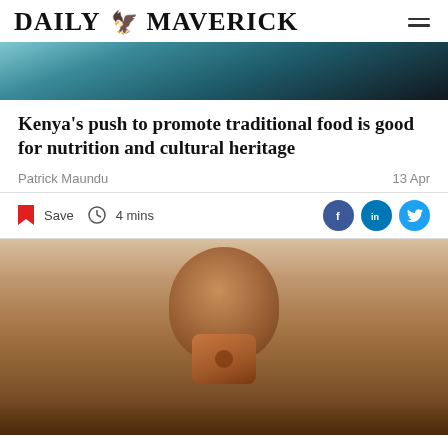DAILY MAVERICK
[Figure (photo): Top cropped image showing teal/dark abstract background, partial globe or bowl texture]
Kenya's push to promote traditional food is good for nutrition and cultural heritage
Patrick Maundu
13 Apr
Save  4 mins
[Figure (photo): A young African child holding a wooden toy block up to their face, covering their eyes, looking through a hole in the block. The child appears to be in a classroom setting.]